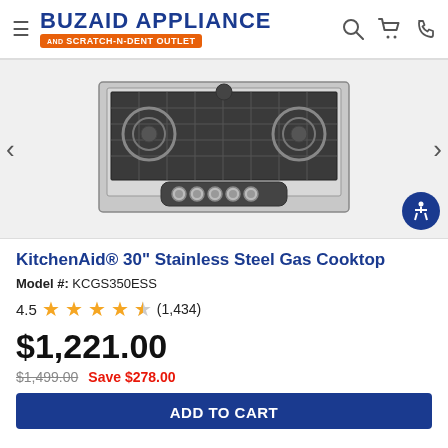Buzaid Appliance and Scratch-N-Dent Outlet
[Figure (photo): KitchenAid 30-inch stainless steel gas cooktop with 5 burners and cast iron grates, viewed from slightly above]
KitchenAid® 30" Stainless Steel Gas Cooktop
Model #: KCGS350ESS
4.5 ★★★★½ (1,434)
$1,221.00
$1,499.00   Save $278.00
ADD TO CART